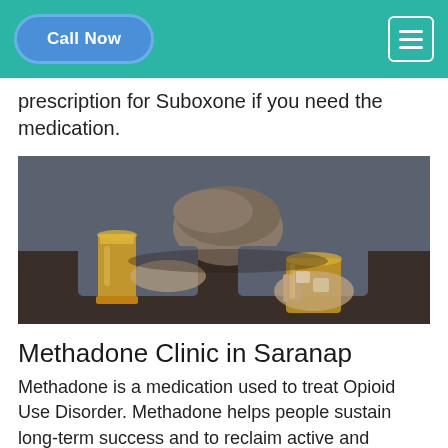Call Now
prescription for Suboxone if you need the medication.
[Figure (photo): Person slumped over a table holding a glass of whiskey, with another glass of whiskey in front — depicting alcohol use disorder or intoxication.]
Methadone Clinic in Saranap
Methadone is a medication used to treat Opioid Use Disorder. Methadone helps people sustain long-term success and to reclaim active and meaningful lives. Methadone reduces opioid craving and withdrawal and